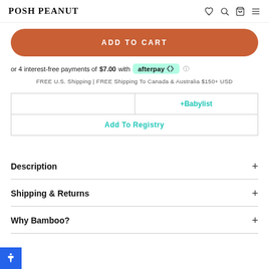POSH PEANUT
ADD TO CART
or 4 interest-free payments of $7.00 with afterpay
FREE U.S. Shipping | FREE Shipping To Canada & Australia $150+ USD
| +Babylist |
| Add To Registry |
Description
Shipping & Returns
Why Bamboo?